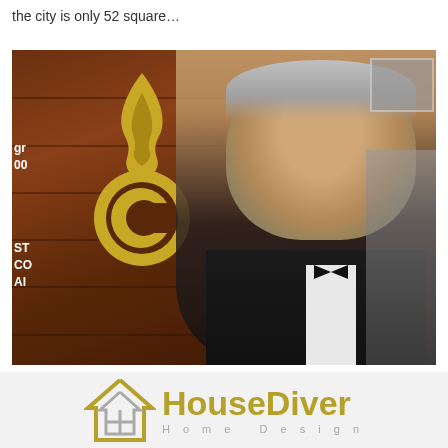the city is only 52 square…
[Figure (photo): A man in a tuxedo with bow tie, gray hair, speaking at an event with a Comedy Central logo (flame above letter C in gold) on a wooden background. Other people visible in background on right side.]
[Figure (logo): HouseDiver Home Design logo — a house outline icon in olive/gold and gray, with 'HouseDiver' in bold olive/gold text and 'Home Design' in light gray spaced letters below.]